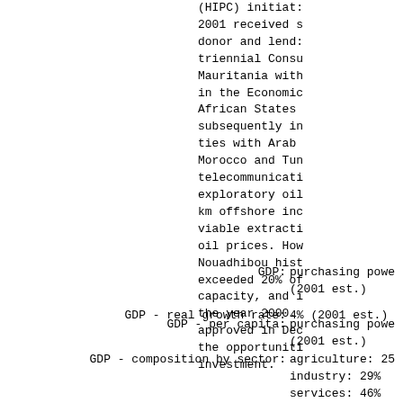(HIPC) initiat: 2001 received s donor and lend: triennial Cons Mauritania wit in the Economi African States subsequently i ties with Arab Morocco and Tu telecommunicat exploratory oi km offshore in viable extract oil prices. Ho Nouadhibou his exceeded 20% o capacity, and  the year 2000. approved in De the opportunit investment.
GDP: purchasing powe (2001 est.)
GDP - real growth rate: 4% (2001 est.)
GDP - per capita: purchasing powe (2001 est.)
GDP - composition by sector: agriculture: 25% industry: 29% services: 46%